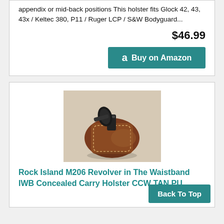appendix or mid-back positions  This holster fits Glock 42, 43, 43x / Keltec 380, P11 / Ruger LCP / S&W Bodyguard...
$46.99
Buy on Amazon
[Figure (photo): Photo of a brown leather IWB holster with a revolver inserted, shown on a light background]
Rock Island M206 Revolver in The Waistband IWB Concealed Carry Holster CCW TAN PU...
$39.95
Back To Top